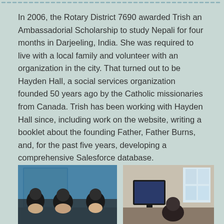In 2006, the Rotary District 7690 awarded Trish an Ambassadorial Scholarship to study Nepali for four months in Darjeeling, India. She was required to live with a local family and volunteer with an organization in the city. That turned out to be Hayden Hall, a social services organization founded 50 years ago by the Catholic missionaries from Canada. Trish has been working with Hayden Hall since, including work on the website, writing a booklet about the founding Father, Father Burns, and, for the past five years, developing a comprehensive Salesforce database.
[Figure (photo): Photo of people, appears to be in front of a blue wall/door, showing several individuals]
[Figure (photo): Photo showing a computer monitor and desk setup in what appears to be an office setting]